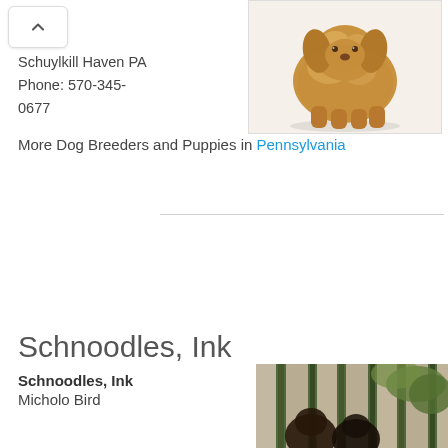[Figure (photo): Small fluffy tan/golden puppy dog photographed from above on white background]
Schuylkill Haven PA
Phone: 570-345-0677
More Dog Breeders and Puppies in Pennsylvania
Schnoodles, Ink
Schnoodles, Ink
Micholo Bird
[Figure (photo): Dark colored dogs visible through wooden fence slats with green foliage in background]